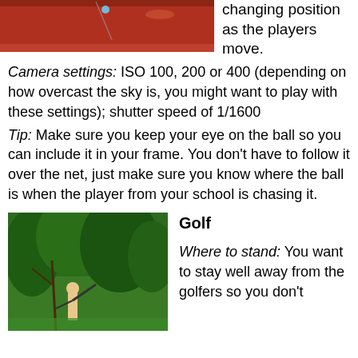[Figure (photo): Top portion of a tennis court photo showing a red clay surface with players]
changing position as the players move.
Camera settings: ISO 100, 200 or 400 (depending on how overcast the sky is, you might want to play with these settings); shutter speed of 1/1600
Tip: Make sure you keep your eye on the ball so you can include it in your frame. You don't have to follow it over the net, just make sure you know where the ball is when the player from your school is chasing it.
[Figure (photo): A golfer mid-swing surrounded by green trees]
Golf
Where to stand: You want to stay well away from the golfers so you don't